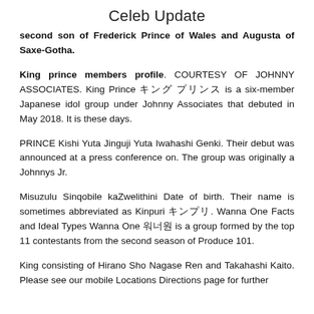Celeb Update
second son of Frederick Prince of Wales and Augusta of Saxe-Gotha.
King prince members profile. COURTESY OF JOHNNY ASSOCIATES. King Prince キング プリンス is a six-member Japanese idol group under Johnny Associates that debuted in May 2018. It is these days.
PRINCE Kishi Yuta Jinguji Yuta Iwahashi Genki. Their debut was announced at a press conference on. The group was originally a Johnnys Jr.
Misuzulu Sinqobile kaZwelithini Date of birth. Their name is sometimes abbreviated as Kinpuri キンプリ. Wanna One Facts and Ideal Types Wanna One 워너원 is a group formed by the top 11 contestants from the second season of Produce 101.
King consisting of Hirano Sho Nagase Ren and Takahashi Kaito. Please see our mobile Locations Directions page for further